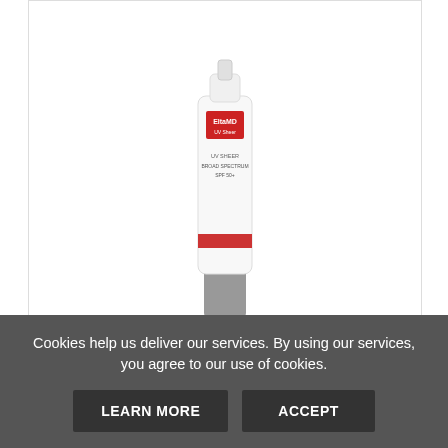[Figure (photo): EltaMD UV Sheer SPF 50+ sunscreen tube product photo — white tube with red band and gray cap]
EltaMD UV Sheer SPF 50+ Face and Body Su...
only $32.00
VIEW  ADD TO CART
Cookies help us deliver our services. By using our services, you agree to our use of cookies.
LEARN MORE  ACCEPT